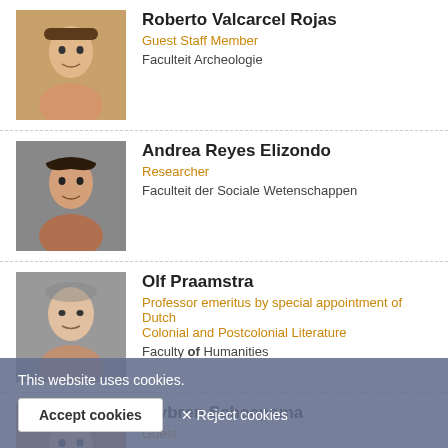Roberto Valcarcel Rojas | Guest Staff Member | Faculteit Archeologie
Andrea Reyes Elizondo | Researcher | Faculteit der Sociale Wetenschappen
Olf Praamstra | Professor emeritus by special appointment of Dutch Colonial and Postcolonial Literature | Faculty of Humanities
Wybren Scheepsma | Guest | Faculty of Humanities
Nicolette Mout | Professor emeritus of European History
This website uses cookies.
Accept cookies | ✕ Reject cookies